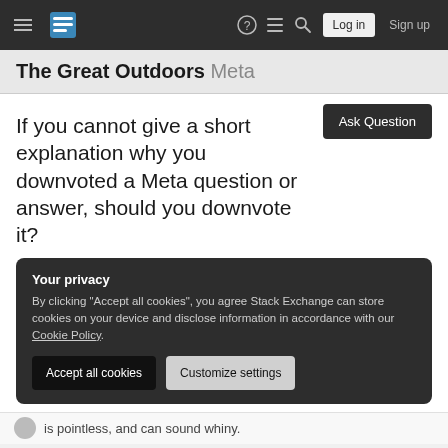The Great Outdoors Meta — Stack Exchange navigation bar with Log in and Sign up buttons
The Great Outdoors Meta
If you cannot give a short explanation why you downvoted a Meta question or answer, should you downvote it?
Your privacy
By clicking "Accept all cookies", you agree Stack Exchange can store cookies on your device and disclose information in accordance with our Cookie Policy.
is pointless, and can sound whiny.